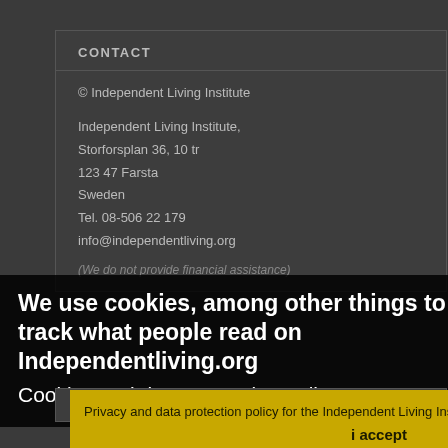CONTACT
© Independent Living Institute
Independent Living Institute,
Storforsplan 36, 10 tr
123 47 Farsta
Sweden
Tel. 08-506 22 179
info@independentliving.org
(We do not provide financial assistance)
We use cookies, among other things to track what people read on Independentliving.org
Cookies and data protection policy
PRIVACY AND DATA PROTECTION POLICY
Privacy and data protection policy for the Independent Living Institute
i accept